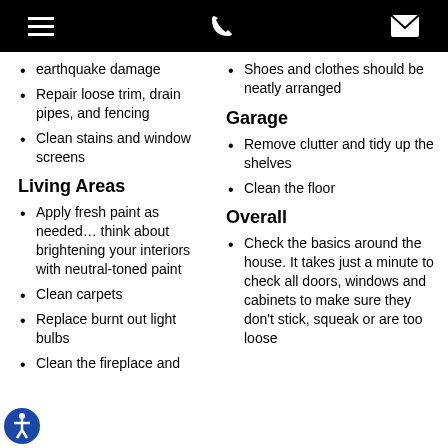Navigation bar with menu, phone, and email icons
earthquake damage
Repair loose trim, drain pipes, and fencing
Clean stains and window screens
Living Areas
Apply fresh paint as needed… think about brightening your interiors with neutral-toned paint
Clean carpets
Replace burnt out light bulbs
Clean the fireplace and
Shoes and clothes should be neatly arranged
Garage
Remove clutter and tidy up the shelves
Clean the floor
Overall
Check the basics around the house. It takes just a minute to check all doors, windows and cabinets to make sure they don't stick, squeak or are too loose